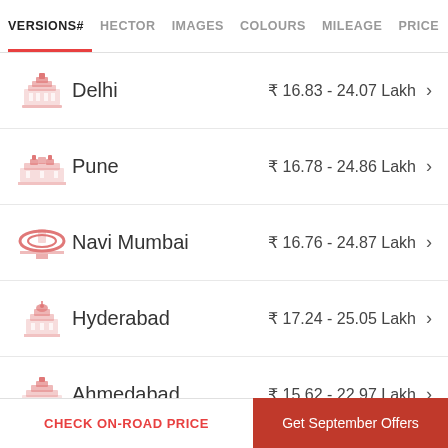VERSIONS# | HECTOR | IMAGES | COLOURS | MILEAGE | PRICE
Delhi  ₹ 16.83 - 24.07 Lakh
Pune  ₹ 16.78 - 24.86 Lakh
Navi Mumbai  ₹ 16.76 - 24.87 Lakh
Hyderabad  ₹ 17.24 - 25.05 Lakh
Ahmedabad  ₹ 15.62 - 22.97 Lakh
Chennai  ₹ 16.96 - 24.47 Lakh
CHECK ON-ROAD PRICE | Get September Offers